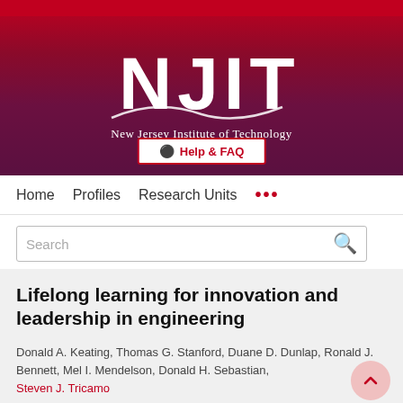[Figure (logo): NJIT - New Jersey Institute of Technology logo with red and purple gradient background, white NJIT letters, swoosh graphic, and Help & FAQ button]
Home   Profiles   Research Units   ...
Search
Lifelong learning for innovation and leadership in engineering
Donald A. Keating, Thomas G. Stanford, Duane D. Dunlap, Ronald J. Bennett, Mel I. Mendelson, Donald H. Sebastian, Steven J. Tricamo